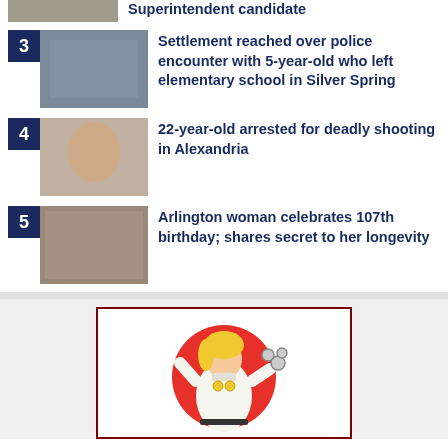Superintendent candidate
3 Settlement reached over police encounter with 5-year-old who left elementary school in Silver Spring
4 22-year-old arrested for deadly shooting in Alexandria
5 Arlington woman celebrates 107th birthday; shares secret to her longevity
[Figure (illustration): Cartoon illustration of a blonde woman in a white uniform holding gauges/tools with a red circle background, inside a dark red border frame — advertisement illustration]